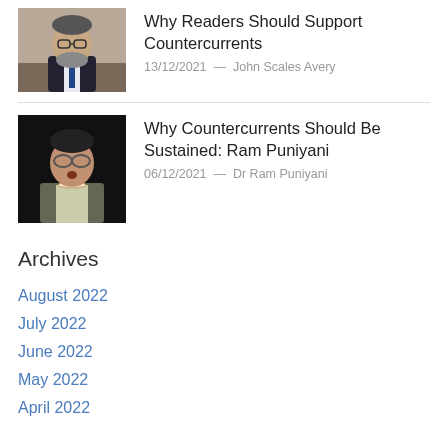Why Readers Should Support Countercurrents
13/12/2021  —  John Scales Avery
Why Countercurrents Should Be Sustained: Ram Puniyani
06/12/2021  —  Dr Ram Puniyani
Archives
August 2022
July 2022
June 2022
May 2022
April 2022